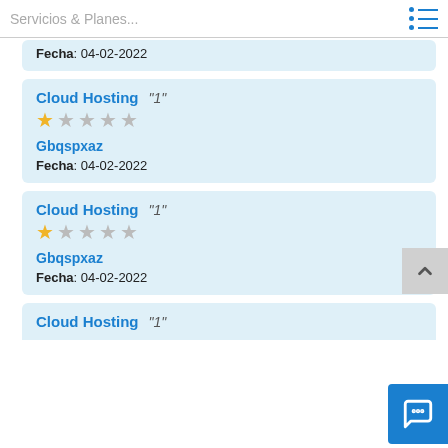Servicios & Planes...
Fecha: 04-02-2022
Cloud Hosting "1" ★☆☆☆☆ Gbqspxaz Fecha: 04-02-2022
Cloud Hosting "1" ★☆☆☆☆ Gbqspxaz Fecha: 04-02-2022
Cloud Hosting "1"